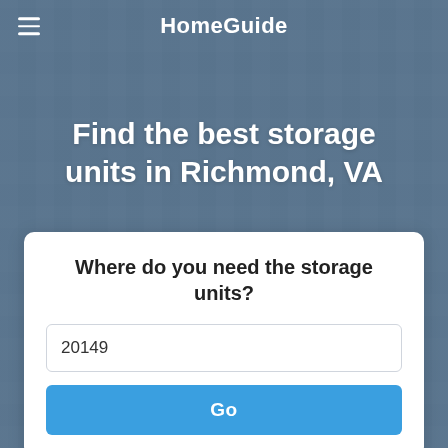HomeGuide
Find the best storage units in Richmond, VA
Where do you need the storage units?
20149
Go